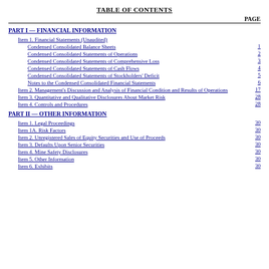TABLE OF CONTENTS
PAGE
PART I — FINANCIAL INFORMATION
Item 1. Financial Statements (Unaudited)
Condensed Consolidated Balance Sheets ... 1
Condensed Consolidated Statements of Operations ... 2
Condensed Consolidated Statements of Comprehensive Loss ... 3
Condensed Consolidated Statements of Cash Flows ... 4
Condensed Consolidated Statements of Stockholders' Deficit ... 5
Notes to the Condensed Consolidated Financial Statements ... 6
Item 2. Management's Discussion and Analysis of Financial Condition and Results of Operations ... 17
Item 3. Quantitative and Qualitative Disclosures About Market Risk ... 28
Item 4. Controls and Procedures ... 28
PART II — OTHER INFORMATION
Item 1. Legal Proceedings ... 30
Item 1A. Risk Factors ... 30
Item 2. Unregistered Sales of Equity Securities and Use of Proceeds ... 30
Item 3. Defaults Upon Senior Securities ... 30
Item 4. Mine Safety Disclosures ... 30
Item 5. Other Information ... 30
Item 6. Exhibits ... 30